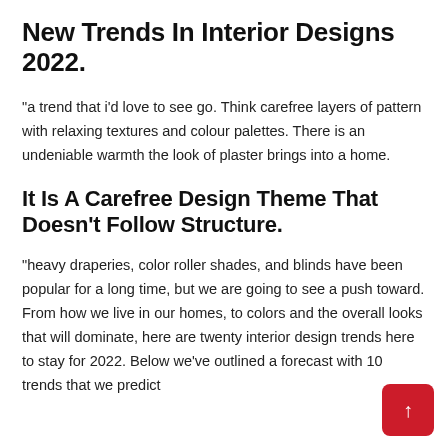New Trends In Interior Designs 2022.
“a trend that i’d love to see go. Think carefree layers of pattern with relaxing textures and colour palettes. There is an undeniable warmth the look of plaster brings into a home.
It Is A Carefree Design Theme That Doesn’t Follow Structure.
“heavy draperies, color roller shades, and blinds have been popular for a long time, but we are going to see a push toward. From how we live in our homes, to colors and the overall looks that will dominate, here are twenty interior design trends here to stay for 2022. Below we’ve outlined a forecast with 10 trends that we predict